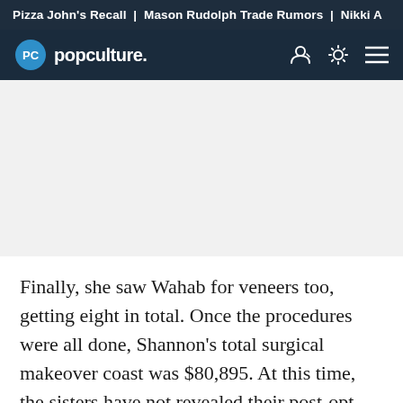Pizza John's Recall | Mason Rudolph Trade Rumors | Nikki A
popculture.
Finally, she saw Wahab for veneers too, getting eight in total. Once the procedures were all done, Shannon's total surgical makeover coast was $80,895. At this time, the sisters have not revealed their post-opt looks.